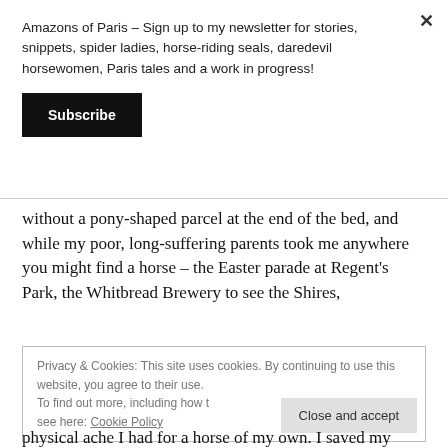×
Amazons of Paris – Sign up to my newsletter for stories, snippets, spider ladies, horse-riding seals, daredevil horsewomen, Paris tales and a work in progress!
Subscribe
without a pony-shaped parcel at the end of the bed, and while my poor, long-suffering parents took me anywhere you might find a horse – the Easter parade at Regent's Park, the Whitbread Brewery to see the Shires,
Privacy & Cookies: This site uses cookies. By continuing to use this website, you agree to their use.
To find out more, including how to control cookies, see here: Cookie Policy
Close and accept
physical ache I had for a horse of my own. I saved my